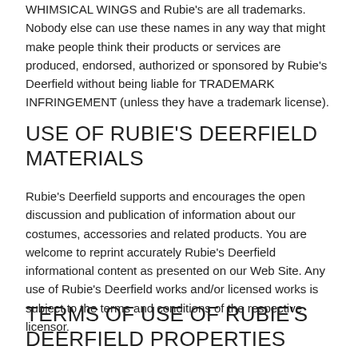WHIMSICAL WINGS and Rubie's are all trademarks. Nobody else can use these names in any way that might make people think their products or services are produced, endorsed, authorized or sponsored by Rubie's Deerfield without being liable for TRADEMARK INFRINGEMENT (unless they have a trademark license).
USE OF RUBIE'S DEERFIELD MATERIALS
Rubie's Deerfield supports and encourages the open discussion and publication of information about our costumes, accessories and related products. You are welcome to reprint accurately Rubie's Deerfield informational content as presented on our Web Site. Any use of Rubie's Deerfield works and/or licensed works is subject to the terms and conditions of the respective licensor.
TERMS OF USE OF RUBIE'S DEERFIELD PROPERTIES